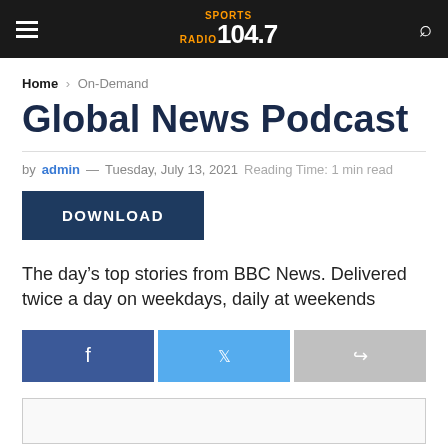Sports Radio 104.7
Home > On-Demand
Global News Podcast
by admin — Tuesday, July 13, 2021  Reading Time: 1 min read
DOWNLOAD
The day's top stories from BBC News. Delivered twice a day on weekdays, daily at weekends